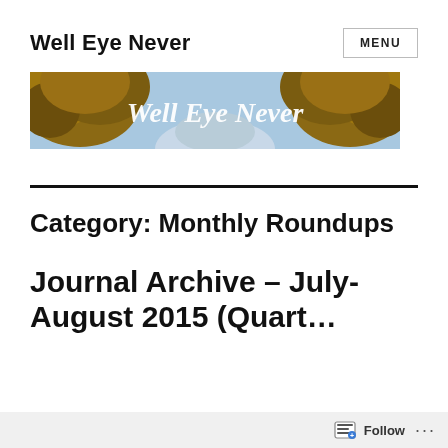Well Eye Never
[Figure (illustration): Blog banner image showing an autumnal tree-lined road with cursive script text reading 'Well Eye Never' overlaid in white]
Category: Monthly Roundups
Journal Archive – July-August 2015 (Quarterly…